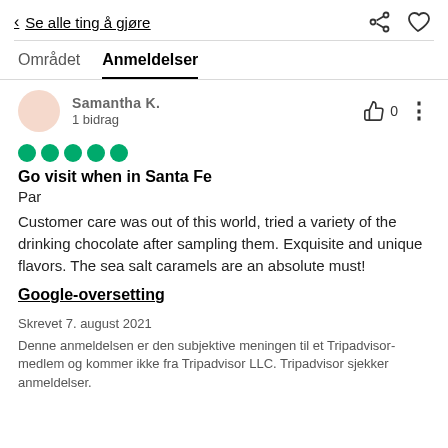< Se alle ting å gjøre
Området   Anmeldelser
Samantha K.
1 bidrag  👍 0
[Figure (other): Five green filled circles representing a 5-star rating]
Go visit when in Santa Fe
Par
Customer care was out of this world, tried a variety of the drinking chocolate after sampling them. Exquisite and unique flavors. The sea salt caramels are an absolute must!
Google-oversetting
Skrevet 7. august 2021
Denne anmeldelsen er den subjektive meningen til et Tripadvisor-medlem og kommer ikke fra Tripadvisor LLC. Tripadvisor sjekker anmeldelser.